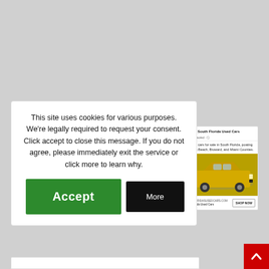This site uses cookies for various purposes. We're legally required to request your consent. Click accept to close this message. If you do not agree, please immediately exit the service or click more to learn why.
[Figure (screenshot): Green Accept button and black More button for cookie consent dialog]
[Figure (screenshot): South Florida Used Cars advertisement panel showing a gold/yellow SUV with Sponsored label and Shop Now button]
[Figure (other): Red scroll-to-top button with white upward arrow in bottom right corner]